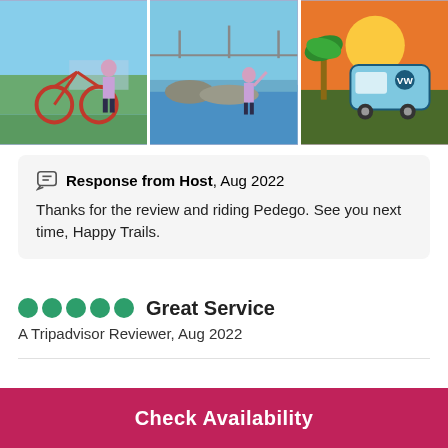[Figure (photo): Three photos in a horizontal strip: (1) Woman with red bicycle near waterfront with blue sky and industrial background, (2) Woman standing on rocks by a bay/harbor with a bridge in background, (3) Colorful VW bus mural on a wall with palm tree and sunset.]
Response from Host, Aug 2022
Thanks for the review and riding Pedego. See you next time, Happy Trails.
Great Service
A Tripadvisor Reviewer, Aug 2022
Check Availability